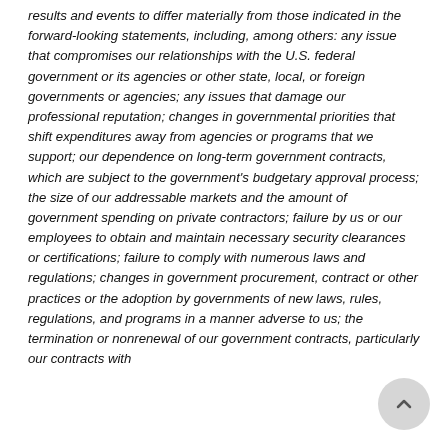results and events to differ materially from those indicated in the forward-looking statements, including, among others: any issue that compromises our relationships with the U.S. federal government or its agencies or other state, local, or foreign governments or agencies; any issues that damage our professional reputation; changes in governmental priorities that shift expenditures away from agencies or programs that we support; our dependence on long-term government contracts, which are subject to the government's budgetary approval process; the size of our addressable markets and the amount of government spending on private contractors; failure by us or our employees to obtain and maintain necessary security clearances or certifications; failure to comply with numerous laws and regulations; changes in government procurement, contract or other practices or the adoption by governments of new laws, rules, regulations, and programs in a manner adverse to us; the termination or nonrenewal of our government contracts, particularly our contracts with